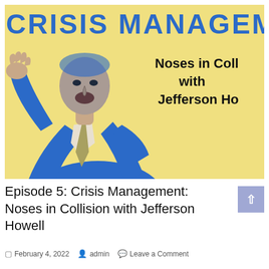[Figure (illustration): Podcast cover art with yellow background showing a stylized blue illustration of a man in a suit gesturing, with text 'CRISIS MANAGEMENT' at the top and 'Noses in Coll with Jefferson Ho' on the right side.]
Episode 5: Crisis Management: Noses in Collision with Jefferson Howell
February 4, 2022  admin  Leave a Comment